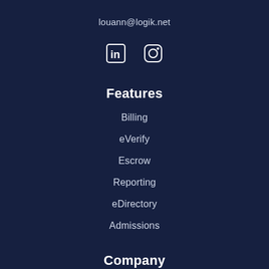louann@logik.net
[Figure (infographic): LinkedIn and Instagram social media icons in white on dark navy background]
Features
Billing
eVerify
Escrow
Reporting
eDirectory
Admissions
Company